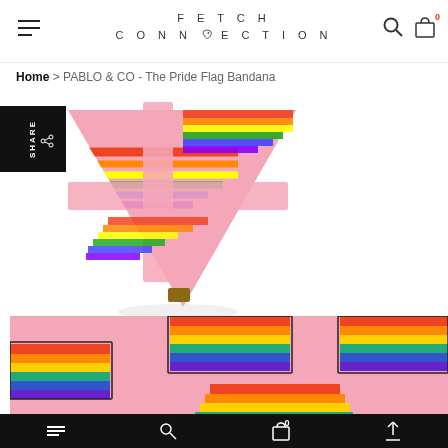FETCH CONNECTION
Home > PABLO & CO - The Pride Flag Bandana
[Figure (photo): Pink rainbow pride flag bandana for pets, shown folded/tied]
SHARE
[Figure (photo): Pink rainbow pride flag bandana for pets, shown flat/unfolded]
Mobile navigation bar with cart showing 0